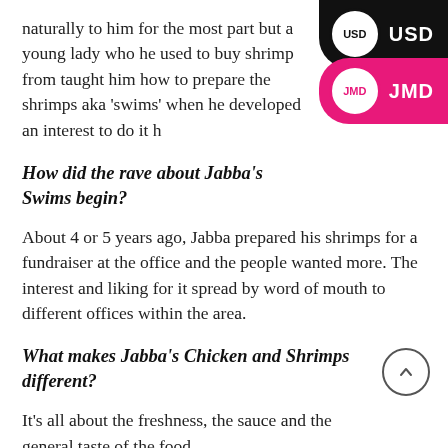naturally to him for the most part but a young lady who he used to buy shrimp from taught him how to prepare the shrimps aka 'swims' when he developed an interest to do it h...
How did the rave about Jabba's Swims begin?
About 4 or 5 years ago, Jabba prepared his shrimps for a fundraiser at the office and the people wanted more. The interest and liking for it spread by word of mouth to different offices within the area.
What makes Jabba's Chicken and Shrimps different?
It's all about the freshness, the sauce and the general taste of the food.
Freshness is important folks, so it is unlikely...